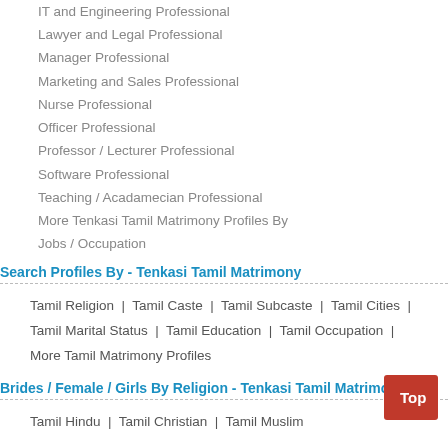IT and Engineering Professional
Lawyer and Legal Professional
Manager Professional
Marketing and Sales Professional
Nurse Professional
Officer Professional
Professor / Lecturer Professional
Software Professional
Teaching / Acadamecian Professional
More Tenkasi Tamil Matrimony Profiles By Jobs / Occupation
Search Profiles By - Tenkasi Tamil Matrimony
Tamil Religion | Tamil Caste | Tamil Subcaste | Tamil Cities | Tamil Marital Status | Tamil Education | Tamil Occupation | More Tamil Matrimony Profiles
Brides / Female / Girls By Religion - Tenkasi Tamil Matrimony
Tamil Hindu | Tamil Christian | Tamil Muslim
Grooms / Male / Boys By Religion - Tenkasi Tamil Matrimony